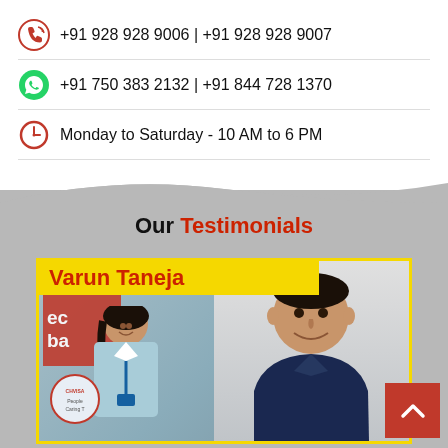+91 928 928 9006 | +91 928 928 9007
+91 750 383 2132 | +91 844 728 1370
Monday to Saturday - 10 AM to 6 PM
Our Testimonials
[Figure (photo): Testimonial photo of Varun Taneja with two people (a woman in light blue uniform with lanyard and a man in dark blue shirt) inside a yellow-bordered card on grey background]